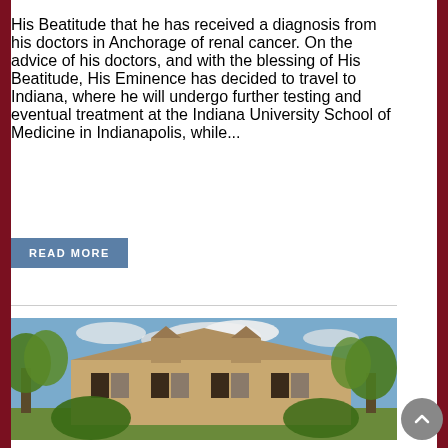His Beatitude that he has received a diagnosis from his doctors in Anchorage of renal cancer. On the advice of his doctors, and with the blessing of His Beatitude, His Eminence has decided to travel to Indiana, where he will undergo further testing and eventual treatment at the Indiana University School of Medicine in Indianapolis, while...
READ MORE
[Figure (photo): Exterior photo of a large colonial-style building with trees in the foreground, under a partly cloudy blue sky.]